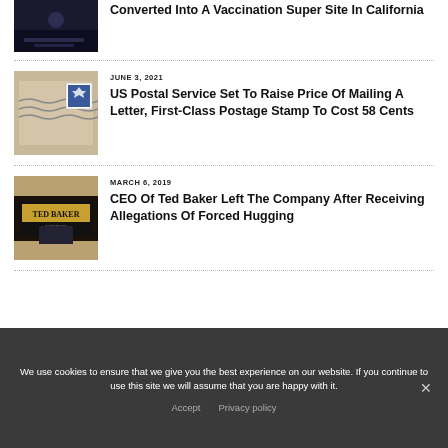[Figure (photo): Partial view of a dark scene, top of page cut off]
Converted Into A Vaccination Super Site In California
[Figure (photo): Close-up of a US postage stamp on an envelope with postal marks]
JUNE 3, 2021
US Postal Service Set To Raise Price Of Mailing A Letter, First-Class Postage Stamp To Cost 58 Cents
[Figure (photo): Ted Baker London store sign/facade]
MARCH 6, 2019
CEO Of Ted Baker Left The Company After Receiving Allegations Of Forced Hugging
We use cookies to ensure that we give you the best experience on our website. If you continue to use this site we will assume that you are happy with it.
Accept   Privacy policy